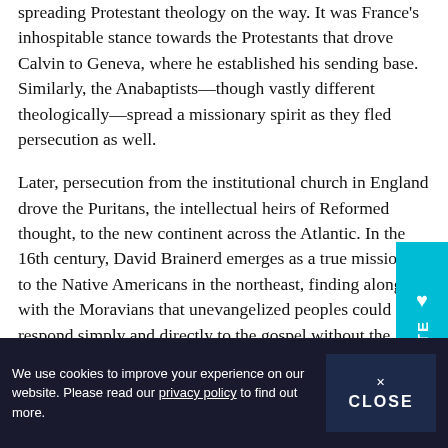spreading Protestant theology on the way. It was France's inhospitable stance towards the Protestants that drove Calvin to Geneva, where he established his sending base. Similarly, the Anabaptists—though vastly different theologically—spread a missionary spirit as they fled persecution as well.
Later, persecution from the institutional church in England drove the Puritans, the intellectual heirs of Reformed thought, to the new continent across the Atlantic. In the 16th century, David Brainerd emerges as a true missionary to the Native Americans in the northeast, finding along with the Moravians that unevangelized peoples could respond simply and directly to the gospel without the missionary first [text cut off]
We use cookies to improve your experience on our website. Please read our privacy policy to find out more.